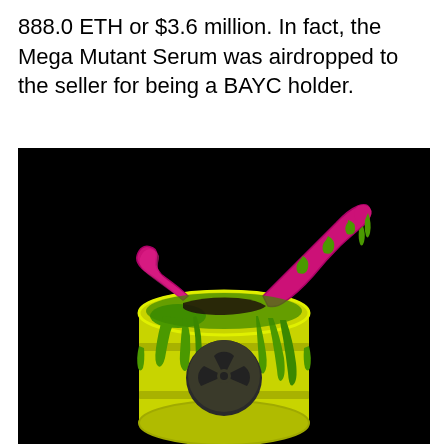888.0 ETH or $3.6 million. In fact, the Mega Mutant Serum was airdropped to the seller for being a BAYC holder.
[Figure (illustration): Illustration of a yellow nuclear waste barrel with a radioactive symbol, green slime dripping down the sides, and pink/magenta tentacles or appendages emerging from the open top, on a black background. This represents the Mega Mutant Serum NFT from the BAYC (Bored Ape Yacht Club) collection.]